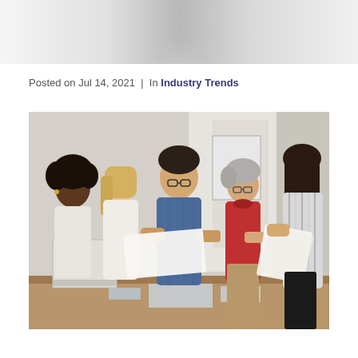[Figure (photo): Partial top of a photo showing blurred figures, light background]
Posted on Jul 14, 2021  |  In Industry Trends
[Figure (photo): Five diverse colleagues standing around a table in an office, looking at documents together. One man in blue plaid shirt, one woman in red sweater, one woman in striped blouse holding papers, and two other women looking on.]